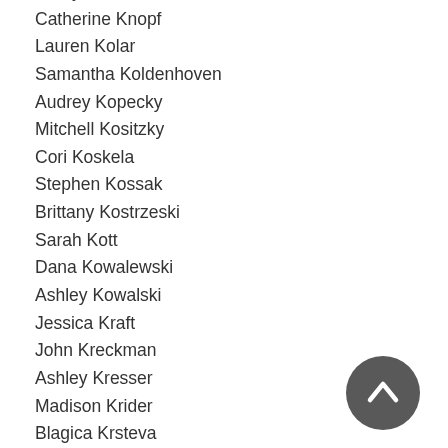Kerby Kniss
Catherine Knopf
Lauren Kolar
Samantha Koldenhoven
Audrey Kopecky
Mitchell Kositzky
Cori Koskela
Stephen Kossak
Brittany Kostrzeski
Sarah Kott
Dana Kowalewski
Ashley Kowalski
Jessica Kraft
John Kreckman
Ashley Kresser
Madison Krider
Blagica Krsteva
Katherine Krupica
Jessica Kuczkowski
Kolton Kuczynski